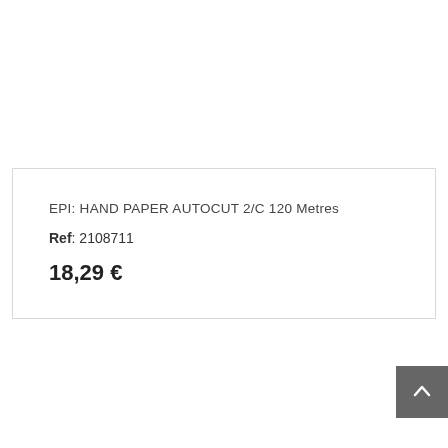EPI: HAND PAPER AUTOCUT 2/C 120 Metres
Ref: 2108711
18,29 €